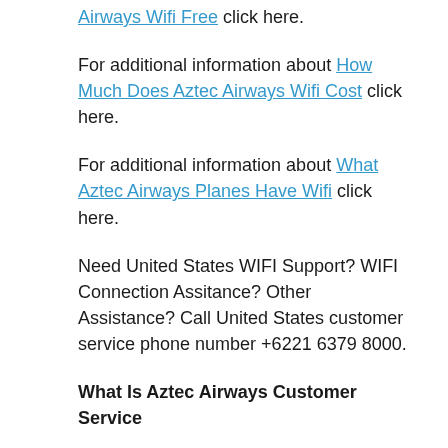Airways Wifi Free click here.
For additional information about How Much Does Aztec Airways Wifi Cost click here.
For additional information about What Aztec Airways Planes Have Wifi click here.
Need United States WIFI Support? WIFI Connection Assitance? Other Assistance? Call United States customer service phone number +6221 6379 8000.
What Is Aztec Airways Customer Service